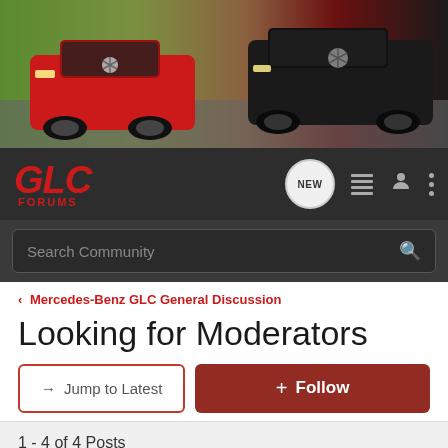[Figure (photo): Banner image showing two Mercedes-Benz GLC vehicles driving on a road — a red one on the left and a dark/black one on the right, with a blurred outdoor background.]
GLC FORUMS — navigation bar with NEW chat icon, list icon, user icon, and more icon
Search Community
< Mercedes-Benz GLC General Discussion
Looking for Moderators
→ Jump to Latest
+ Follow
1 - 4 of 4 Posts
glcadmin · Administrator 🇺🇸
Joined Feb 26, 2010 · 186 Posts